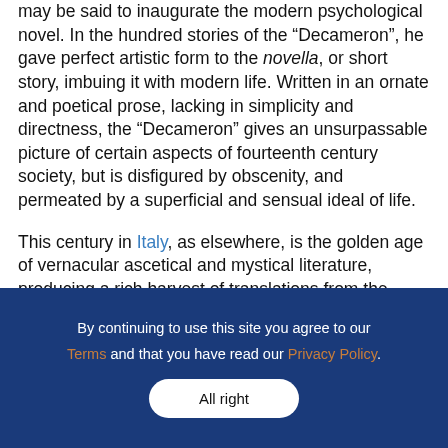may be said to inaugurate the modern psychological novel. In the hundred stories of the "Decameron", he gave perfect artistic form to the novella, or short story, imbuing it with modern life. Written in an ornate and poetical prose, lacking in simplicity and directness, the "Decameron" gives an unsurpassable picture of certain aspects of fourteenth century society, but is disfigured by obscenity, and permeated by a superficial and sensual ideal of life.
This century in Italy, as elsewhere, is the golden age of vernacular ascetical and mystical literature, producing a rich harvest of translations from the Scriptures and the Fathers, of spiritual letters, sermons, and religious treatises no less remarkable
By continuing to use this site you agree to our Terms and that you have read our Privacy Policy. All right